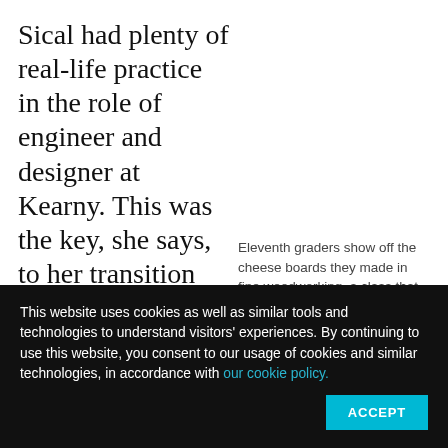Sical had plenty of real-life practice in the role of engineer and designer at Kearny. This was the key, she says, to her transition from an apathetic student to an enthusiastic one. She said her turning
Eleventh graders show off the cheese boards they made in fine woodworking, a class that soon will be phased out, according to the vice principal of Kearny High School's engineering program, James
This website uses cookies as well as similar tools and technologies to understand visitors' experiences. By continuing to use this website, you consent to our usage of cookies and similar technologies, in accordance with our cookie policy.